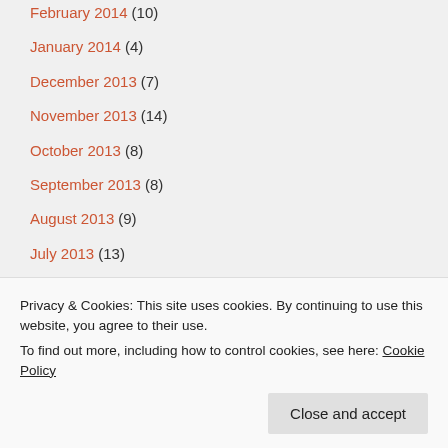February 2014 (10)
January 2014 (4)
December 2013 (7)
November 2013 (14)
October 2013 (8)
September 2013 (8)
August 2013 (9)
July 2013 (13)
June 2013 (10)
May 2013 (13)
April 2013 (15)
Privacy & Cookies: This site uses cookies. By continuing to use this website, you agree to their use. To find out more, including how to control cookies, see here: Cookie Policy